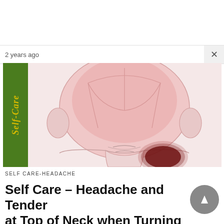2 years ago
[Figure (illustration): Medical illustration showing back view of a human head and neck. The scalp and upper head are shaded in light pink/red, with anatomical outlines visible. A dark red/maroon pain spot is located at the lower right of the neck/base of skull. A green vertical banner on the left reads 'Self-Care' in yellow italic text.]
SELF CARE-HEADACHE
Self Care – Headache and Tender at Top of Neck when Turning Head